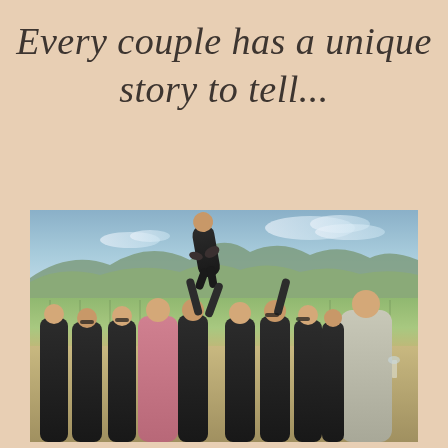Every couple has a unique story to tell...
[Figure (photo): A group of men dressed in suits celebrating outdoors at a vineyard. One man is being tossed up into the air by the group. Mountains and vineyard rows are visible in the background. The atmosphere is festive and joyful, likely a wedding celebration.]